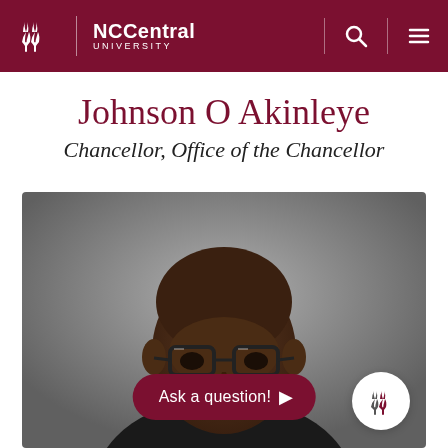NC Central University
Johnson O Akinleye
Chancellor, Office of the Chancellor
[Figure (photo): Portrait photograph of Johnson O Akinleye, Chancellor of NC Central University, wearing glasses, against a grey background]
Ask a question!